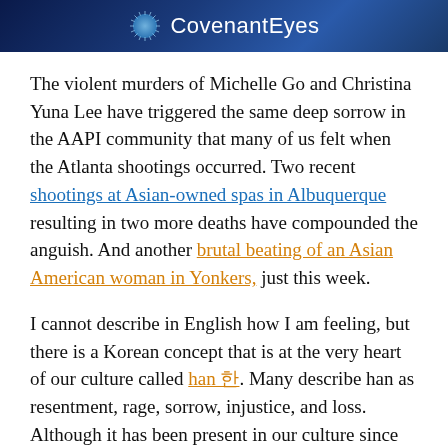[Figure (logo): CovenantEyes banner with blue gradient background and starburst logo on the left and 'CovenantEyes' text in white]
The violent murders of Michelle Go and Christina Yuna Lee have triggered the same deep sorrow in the AAPI community that many of us felt when the Atlanta shootings occurred. Two recent shootings at Asian-owned spas in Albuquerque resulting in two more deaths have compounded the anguish. And another brutal beating of an Asian American woman in Yonkers, just this week.
I cannot describe in English how I am feeling, but there is a Korean concept that is at the very heart of our culture called han 한. Many describe han as resentment, rage, sorrow, injustice, and loss. Although it has been present in our culture since the beginning, in recent years we use it to describe things like the pain and agony of our families being separated during the